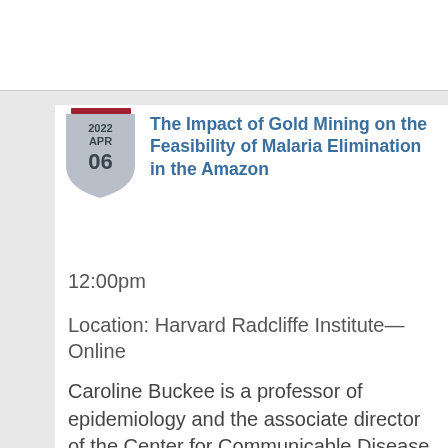The Impact of Gold Mining on the Feasibility of Malaria Elimination in the Amazon
12:00pm
Location: Harvard Radcliffe Institute—Online
Caroline Buckee is a professor of epidemiology and the associate director of the Center for Communicable Disease Dynamics the Harvard T.H. Chan School of Public Health. She is writing a book